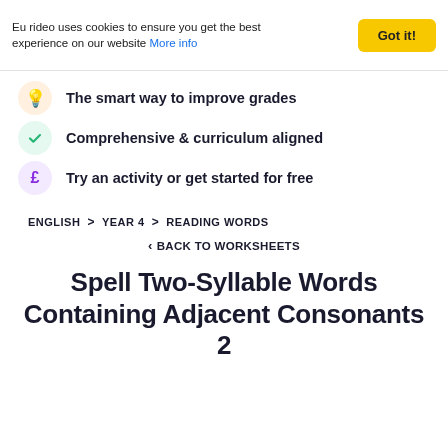Eu rideo uses cookies to ensure you get the best experience on our website More info Got it!
The smart way to improve grades
Comprehensive & curriculum aligned
Try an activity or get started for free
ENGLISH > YEAR 4 > READING WORDS
< BACK TO WORKSHEETS
Spell Two-Syllable Words Containing Adjacent Consonants 2